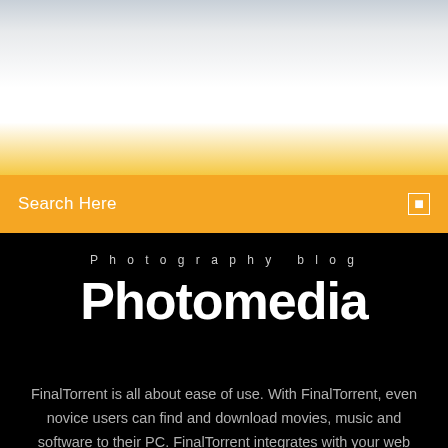[Figure (photo): Top banner area with a light bluish-grey to white to yellow gradient, representing a partial website header image]
Search Here
Photography blog
Photomedia
FinalTorrent is all about ease of use. With FinalTorrent, even novice users can find and download movies, music and software to their PC. FinalTorrent integrates with your web browser so your download starts automatically when clicking a torrent link. Easy Torrent Search